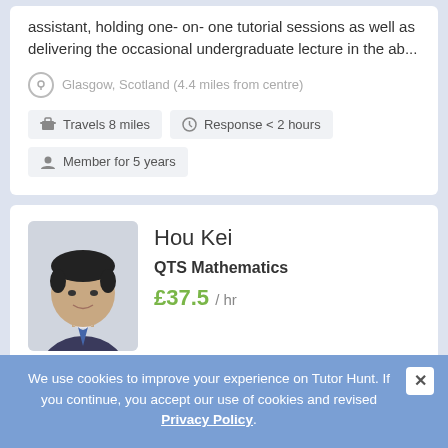assistant, holding one- on- one tutorial sessions as well as delivering the occasional undergraduate lecture in the ab...
Glasgow, Scotland (4.4 miles from centre)
Travels 8 miles
Response < 2 hours
Member for 5 years
Hou Kei
QTS Mathematics
£37.5 / hr
Eng. ), Information Engineering Mathematics and Computer Science Teacher in Hong Kong, a place of top 3 Mathematics performance in the world (OECD Pisa Study). 15 ye...
We use cookies to improve your experience on Tutor Hunt. If you continue, you accept our use of cookies and revised Privacy Policy.